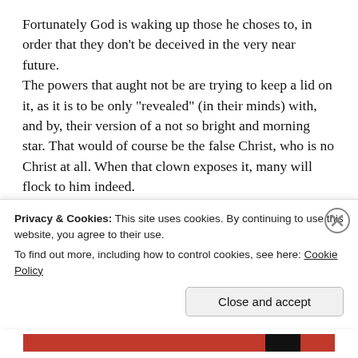Fortunately God is waking up those he choses to, in order that they don't be deceived in the very near future. The powers that aught not be are trying to keep a lid on it, as it is to be only “revealed” (in their minds) with, and by, their version of a not so bright and morning star. That would of course be the false Christ, who is no Christ at all. When that clown exposes it, many will flock to him indeed. But Flat Earth research has now got the
Privacy & Cookies: This site uses cookies. By continuing to use this website, you agree to their use.
To find out more, including how to control cookies, see here: Cookie Policy
Close and accept